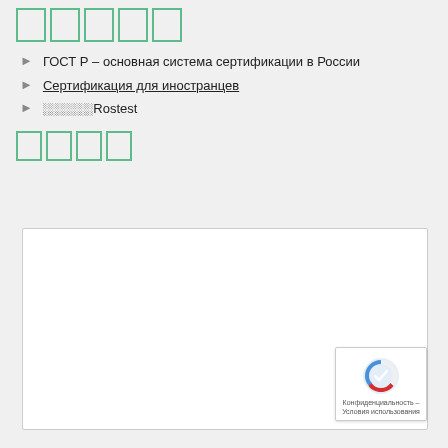█████
ГОСТ Р – основная система сертификации в России
Сертификация для иностранцев
░░░░░░░Rostest
████
[Figure (other): Empty white box with border, possibly an image or embedded content placeholder. Contains a reCAPTCHA badge in bottom right corner.]